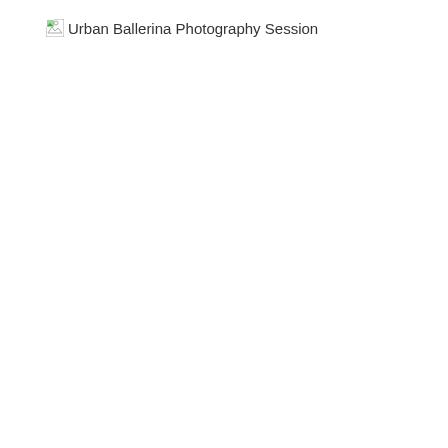[Figure (photo): Broken/missing image placeholder with alt text 'Urban Ballerina Photography Session'. The image failed to load and shows a small broken image icon with the alt text displayed next to it.]